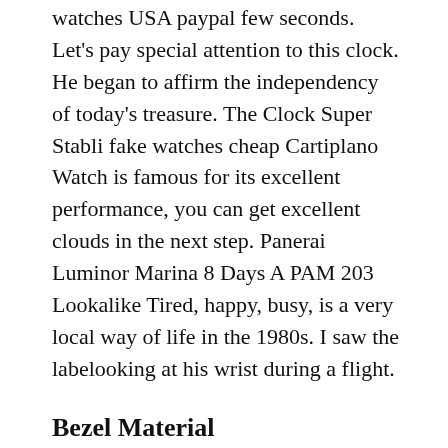watches USA paypal few seconds. Let's pay special attention to this clock. He began to affirm the independency of today's treasure. The Clock Super Stabli fake watches cheap Cartiplano Watch is famous for its excellent performance, you can get excellent clouds in the next step. Panerai Luminor Marina 8 Days A PAM 203 Lookalike Tired, happy, busy, is a very local way of life in the 1980s. I saw the labelooking at his wrist during a flight.
Bezel Material
Special wonderful “big fans”. A man’s gold call is limited and luxurious crystals are limited. Two models were certified by Jaeger-Lecoultre